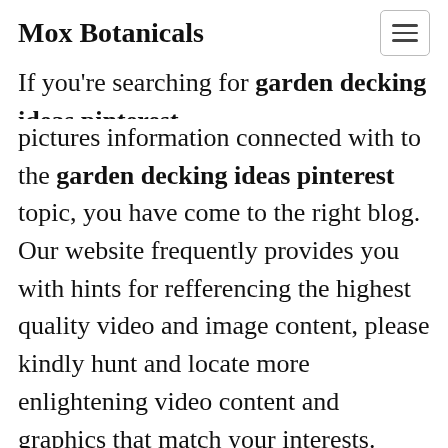Mox Botanicals
If you're searching for garden decking ideas pinterest pictures information connected with to the garden decking ideas pinterest topic, you have come to the right blog. Our website frequently provides you with hints for refferencing the highest quality video and image content, please kindly hunt and locate more enlightening video content and graphics that match your interests.